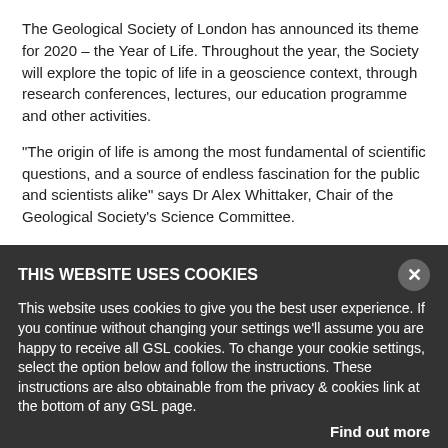The Geological Society of London has announced its theme for 2020 – the Year of Life. Throughout the year, the Society will explore the topic of life in a geoscience context, through research conferences, lectures, our education programme and other activities.
“The origin of life is among the most fundamental of scientific questions, and a source of endless fascination for the public and scientists alike” says Dr Alex Whittaker, Chair of the Geological Society’s Science Committee.
“The evolution and diversity of life on our planet through geological time is inextricably linked with Earth processes such as climate, plate tectonics and the development of a habitable surface environment. Planetary catastrophes such as bolide impacts and flood basalts have caused mass extinctions several times in our geological past, whilst the rise of life and vegetation fundamentally changed the Earth’s landscape, erosion and sedimentation.’
Events throughout the Year of Life will involve academia, industry, economists and government bodies, as well as partner geoscience societies.
THIS WEBSITE USES COOKIES
This website uses cookies to give you the best user experience. If you continue without changing your settings we’ll assume you are happy to receive all GSL cookies. To change your cookie settings, select the option below and follow the instructions. These instructions are also obtainable from the privacy & cookies link at the bottom of any GSL page.
Find out more